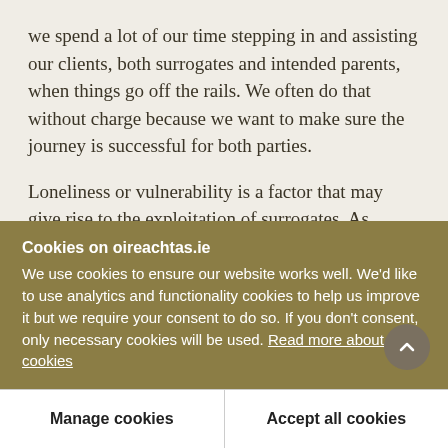we spend a lot of our time stepping in and assisting our clients, both surrogates and intended parents, when things go off the rails. We often do that without charge because we want to make sure the journey is successful for both parties.
Loneliness or vulnerability is a factor that may give rise to the exploitation of surrogates. As Ireland builds its process, it will find that communities of surrogates start to pop up. I often refer to this as being like an
Cookies on oireachtas.ie
We use cookies to ensure our website works well. We'd like to use analytics and functionality cookies to help us improve it but we require your consent to do so. If you don't consent, only necessary cookies will be used. Read more about our cookies
Manage cookies
Accept all cookies